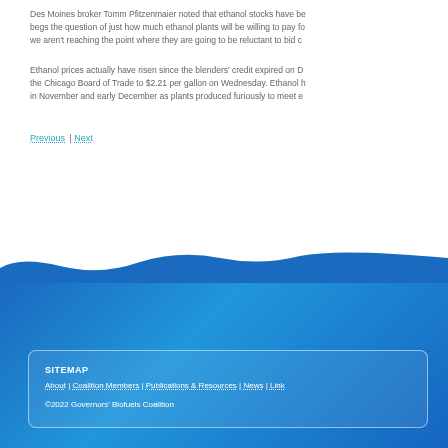Des Moines broker Tomm Pfitzenmaier noted that ethanol stocks have begs the question of just how much ethanol plants will be willing to pay fo we aren't reaching the point where they are going to be reluctant to bid c
Ethanol prices actually have risen since the blenders' credit expired on D the Chicago Board of Trade to $2.21 per gallon on Wednesday. Ethanol h in November and early December as plants produced furiously to meet e
Previous | Next
SITEMAP
About | Coalition Members | Publications & Resources | News | Link
©2022 Governors' Biofuels Coalition